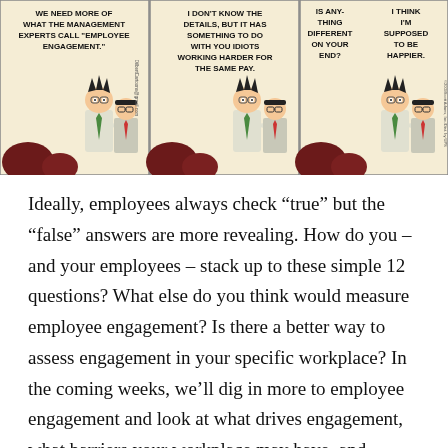[Figure (illustration): Dilbert comic strip with three panels. Panel 1: Boss says 'We need more of what the management experts call "employee engagement."' Panel 2: Employee says 'I don't know the details, but it has something to do with you idiots working harder for the same pay.' Panel 3: Boss says 'Is anything different on your end?' Employee replies 'I think I'm supposed to be happier.']
Ideally, employees always check “true” but the “false” answers are more revealing. How do you – and your employees – stack up to these simple 12 questions? What else do you think would measure employee engagement? Is there a better way to assess engagement in your specific workplace? In the coming weeks, we’ll dig in more to employee engagement and look at what drives engagement, what barriers your workplace may have, and several other factors that affect engagement in the workplace. I’m looking forward to exploring this critical topic with you! For more insight on employee engagement,